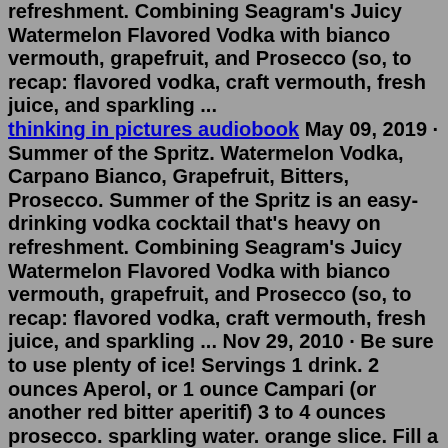refreshment. Combining Seagram's Juicy Watermelon Flavored Vodka with bianco vermouth, grapefruit, and Prosecco (so, to recap: flavored vodka, craft vermouth, fresh juice, and sparkling ... thinking in pictures audiobook May 09, 2019 · Summer of the Spritz. Watermelon Vodka, Carpano Bianco, Grapefruit, Bitters, Prosecco. Summer of the Spritz is an easy-drinking vodka cocktail that's heavy on refreshment. Combining Seagram's Juicy Watermelon Flavored Vodka with bianco vermouth, grapefruit, and Prosecco (so, to recap: flavored vodka, craft vermouth, fresh juice, and sparkling ... Nov 29, 2010 · Be sure to use plenty of ice! Servings 1 drink. 2 ounces Aperol, or 1 ounce Campari (or another red bitter aperitif) 3 to 4 ounces prosecco. sparkling water. orange slice. Fill a footed goblet or glass generously with ice cubes. Pour in Aperol or Campari, then add Prosecco. Add a splash of sparkling water and a slice of orange. How to make: POUR first 2 ingredients into glass then TOP with champagne. 3/4 fl oz. Apple Schnapps liqueur. 1/4 fl